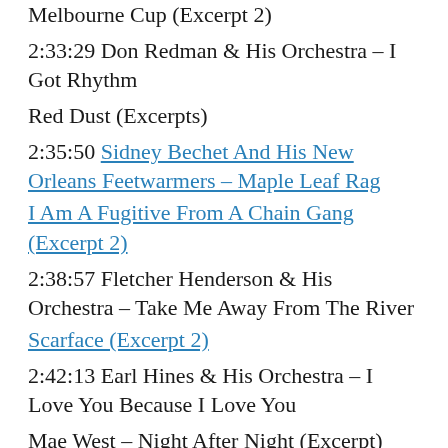Melbourne Cup (Excerpt 2)
2:33:29 Don Redman & His Orchestra – I Got Rhythm
Red Dust (Excerpts)
2:35:50 Sidney Bechet And His New Orleans Feetwarmers – Maple Leaf Rag
I Am A Fugitive From A Chain Gang (Excerpt 2)
2:38:57 Fletcher Henderson & His Orchestra – Take Me Away From The River
Scarface (Excerpt 2)
2:42:13 Earl Hines & His Orchestra – I Love You Because I Love You
Mae West – Night After Night (Excerpt)
2:45:10 Louis Armstrong And His Orchestra – The New Tiger Rag
If I Had a Million (Excerpt)
2:48:38 The Boswell Sisters – Everybody Loves